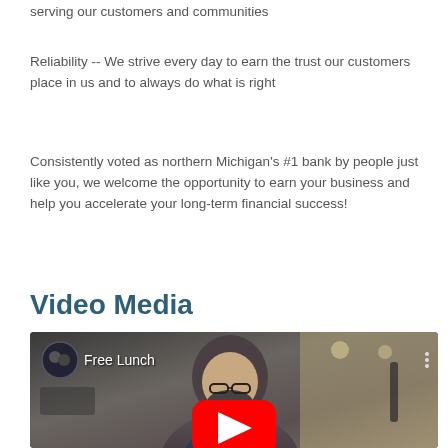serving our customers and communities
Reliability -- We strive every day to earn the trust our customers place in us and to always do what is right
Consistently voted as northern Michigan's #1 bank by people just like you, we welcome the opportunity to earn your business and help you accelerate your long-term financial success!
Video Media
[Figure (other): YouTube video thumbnail showing a bearded man with glasses in a suit, with a YouTube play button in the center. Video title 'Free Lunch' shown in top left with a circular avatar.]